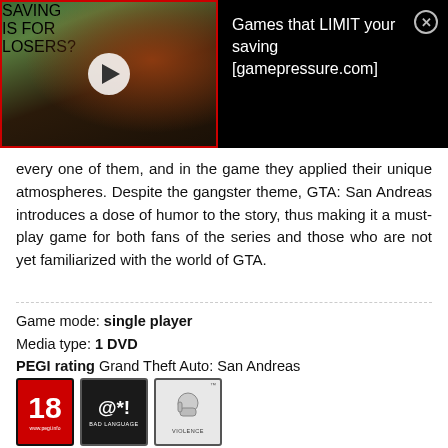[Figure (screenshot): Advertisement banner: video thumbnail on left showing 'Saving is for LOSERS?' text with yellow and purple colors on game background with play button. Right side on black background shows text 'Games that LIMIT your saving [gamepressure.com]' with close button.]
every one of them, and in the game they applied their unique atmospheres. Despite the gangster theme, GTA: San Andreas introduces a dose of humor to the story, thus making it a must-play game for both fans of the series and those who are not yet familiarized with the world of GTA.
Game mode: single player
Media type: 1 DVD
PEGI rating Grand Theft Auto: San Andreas
[Figure (other): PEGI rating badges: PEGI 18 red badge, Bad Language black badge with @*! icon, Violence badge with fist icon]